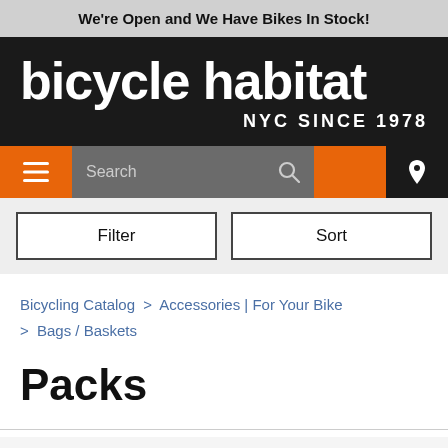We're Open and We Have Bikes In Stock!
[Figure (logo): Bicycle Habitat logo with text 'bicycle habitat' in large white bold font on dark background, with 'NYC SINCE 1978' subtitle]
[Figure (screenshot): Navigation bar with hamburger menu (orange), search field (gray), orange section, and location pin icon (dark)]
[Figure (screenshot): Filter and Sort buttons bar]
Bicycling Catalog > Accessories | For Your Bike > Bags / Baskets
Packs